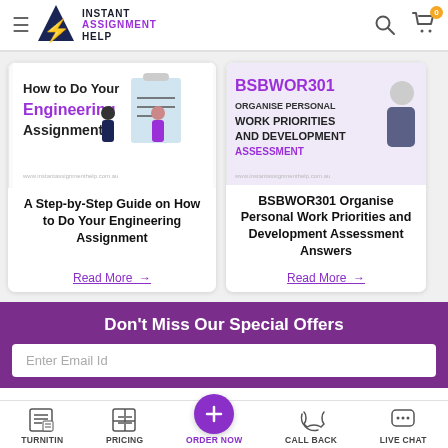Instant Assignment Help
[Figure (illustration): Blog card image: How to Do Your Engineering Assignment? with clipboard and figures illustration]
A Step-by-Step Guide on How to Do Your Engineering Assignment
Read More →
[Figure (illustration): Blog card image: BSBWOR301 Organise Personal Work Priorities and Development Assessment with professional figure]
BSBWOR301 Organise Personal Work Priorities and Development Assessment Answers
Read More →
Don't Miss Our Special Offers
Enter Email Id
TURNITIN   PRICING   ORDER NOW   CALL BACK   LIVE CHAT